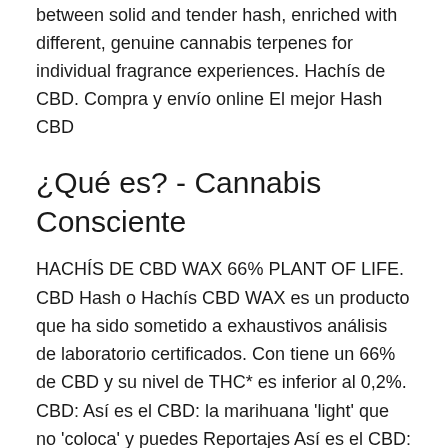between solid and tender hash, enriched with different, genuine cannabis terpenes for individual fragrance experiences. Hachís de CBD. Compra y envío online El mejor Hash CBD
¿Qué es? - Cannabis Consciente
HACHÍS DE CBD WAX 66% PLANT OF LIFE. CBD Hash o Hachís CBD WAX es un producto que ha sido sometido a exhaustivos análisis de laboratorio certificados. Con tiene un 66% de CBD y su nivel de THC* es inferior al 0,2%. CBD: Así es el CBD: la marihuana 'light' que no 'coloca' y puedes Reportajes Así es el CBD: la marihuana 'light' que no 'coloca' y puedes comprar en el centro de Madrid Suele ser el principal componente de la planta, tiene numerosos beneficios para la salud Hash CBD 3g Nous avons mis en place de façon provisoire le paiement par chèque ainsi que le virement bancaire. D'ici peu vous pourrez a nouveau régler vos achats